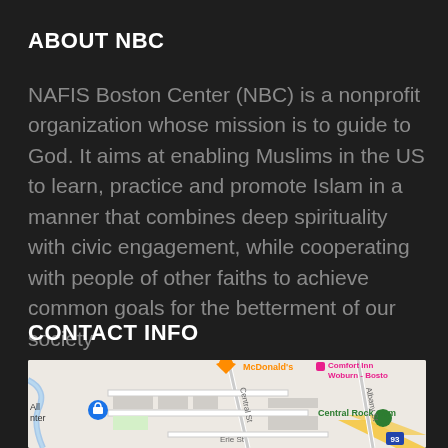ABOUT NBC
NAFIS Boston Center (NBC) is a nonprofit organization whose mission is to guide to God. It aims at enabling Muslims in the US to learn, practice and promote Islam in a manner that combines deep spirituality with civic engagement, while cooperating with people of other faiths to achieve common goals for the betterment of our society
CONTACT INFO
[Figure (map): Google Maps screenshot showing a street map with markers for McDonald's, Comfort Inn Woburn - Boston, Central Rock Gym, and other locations. Streets visible include Central St, Albany St, and Erie St. Route 93 highway visible.]